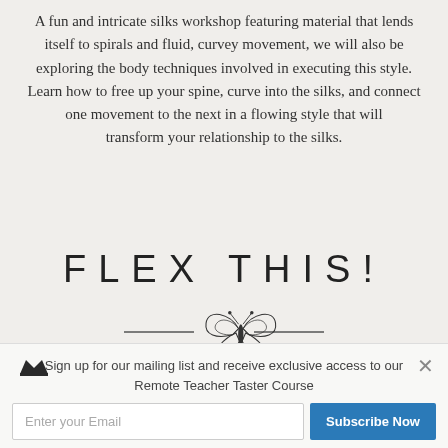A fun and intricate silks workshop featuring material that lends itself to spirals and fluid, curvey movement, we will also be exploring the body techniques involved in executing this style. Learn how to free up your spine, curve into the silks, and connect one movement to the next in a flowing style that will transform your relationship to the silks.
FLEX THIS!
[Figure (illustration): Decorative divider with a butterfly illustration flanked by two short horizontal lines]
Sign up for our mailing list and receive exclusive access to our Remote Teacher Taster Course